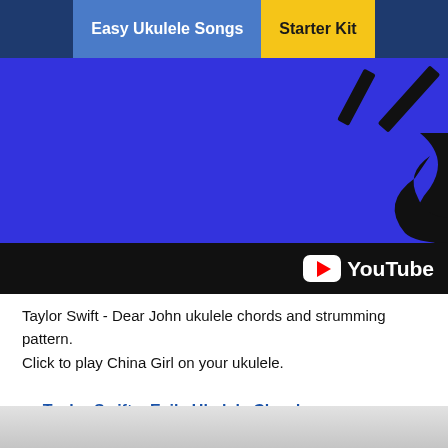Easy Ukulele Songs | Starter Kit
[Figure (screenshot): YouTube video thumbnail showing a blue background with black graphic shapes (rectangles/wave) and YouTube logo on black bar at bottom]
Taylor Swift - Dear John ukulele chords and strumming pattern. Click to play China Girl on your ukulele.
< Taylor Swift – Exile Ukulele Chords
> Taylor Swift – King Of My Heart Ukulele Chords